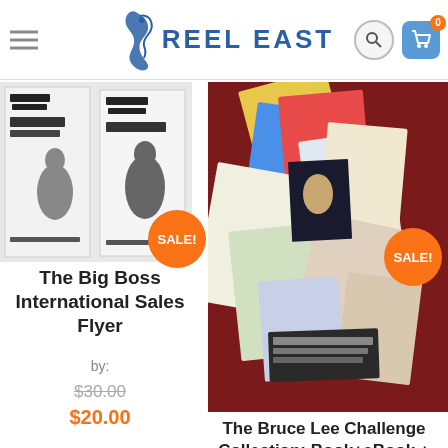REEL EAST
[Figure (photo): The Big Boss International Sales Flyer product thumbnail - black and white Bruce Lee movie flyer]
The Big Boss International Sales Flyer
by:
$30.00
$20.00
[Figure (photo): The Bruce Lee Challenge Collection product thumbnail - colorful collection of lobby cards and materials on red background]
The Bruce Lee Challenge Collection: Book+eBook + Lobbycards + Theatrical Flyer